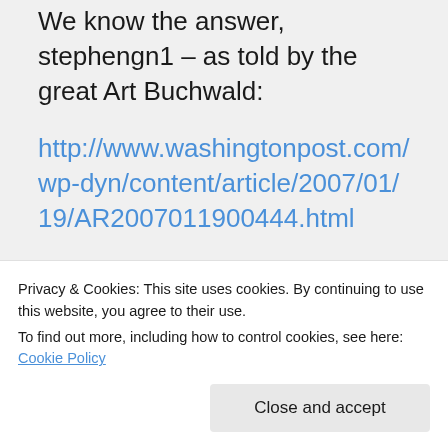We know the answer, stephengn1 – as told by the great Art Buchwald:
http://www.washingtonpost.com/wp-dyn/content/article/2007/01/19/AR2007011900444.html
I chose to spend my
Privacy & Cookies: This site uses cookies. By continuing to use this website, you agree to their use. To find out more, including how to control cookies, see here: Cookie Policy